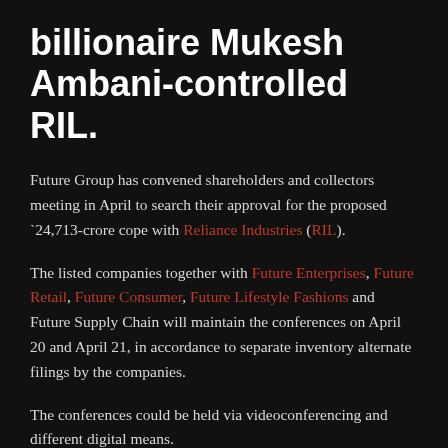billionaire Mukesh Ambani-controlled RIL.
Future Group has convened shareholders and collectors meeting in April to search their approval for the proposed `24,713-crore cope with Reliance Industries (RIL).
The listed companies together with Future Enterprises, Future Retail, Future Consumer, Future Lifestyle Fashions and Future Supply Chain will maintain the conferences on April 20 and April 21, in accordance to separate inventory alternate filings by the companies.
The conferences could be held via videoconferencing and different digital means.